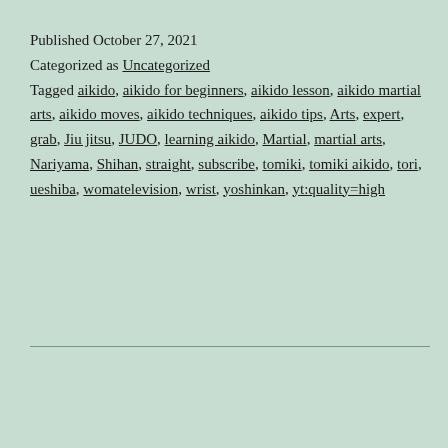Published October 27, 2021
Categorized as Uncategorized
Tagged aikido, aikido for beginners, aikido lesson, aikido martial arts, aikido moves, aikido techniques, aikido tips, Arts, expert, grab, Jiu jitsu, JUDO, learning aikido, Martial, martial arts, Nariyama, Shihan, straight, subscribe, tomiki, tomiki aikido, tori, ueshiba, womatelevision, wrist, yoshinkan, yt:quality=high